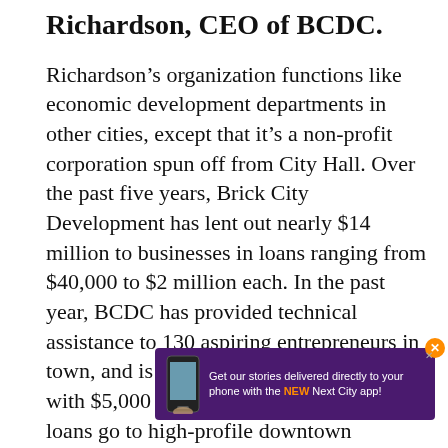Richardson, CEO of BCDC.
Richardson’s organization functions like economic development departments in other cities, except that it’s a non-profit corporation spun off from City Hall. Over the past five years, Brick City Development has lent out nearly $14 million to businesses in loans ranging from $40,000 to $2 million each. In the past year, BCDC has provided technical assistance to 130 aspiring entrepreneurs in town, and is preparing to provide a few with $5,000 startup grants. The biggest loans go to high-profile downtown businesses, big stores and major restaurants, though the organization makes room for the humbler businesses, such as one run by a woman who bakes and home…
[Figure (other): Advertisement overlay: purple banner reading 'Get our stories delivered directly to your phone with the NEW Next City app!' with phone image and close button]